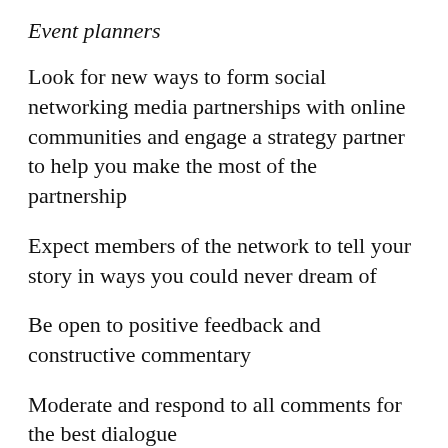Event planners
Look for new ways to form social networking media partnerships with online communities and engage a strategy partner to help you make the most of the partnership
Expect members of the network to tell your story in ways you could never dream of
Be open to positive feedback and constructive commentary
Moderate and respond to all comments for the best dialogue
Set [English badge] blog or social networking site